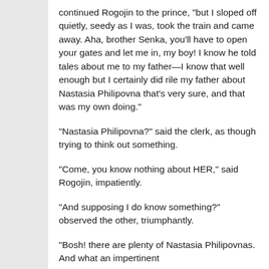continued Rogojin to the prince, "but I sloped off quietly, seedy as I was, took the train and came away. Aha, brother Senka, you'll have to open your gates and let me in, my boy! I know he told tales about me to my father—I know that well enough but I certainly did rile my father about Nastasia Philipovna that's very sure, and that was my own doing."
"Nastasia Philipovna?" said the clerk, as though trying to think out something.
"Come, you know nothing about HER," said Rogojin, impatiently.
"And supposing I do know something?" observed the other, triumphantly.
"Bosh! there are plenty of Nastasia Philipovnas. And what an impertinent